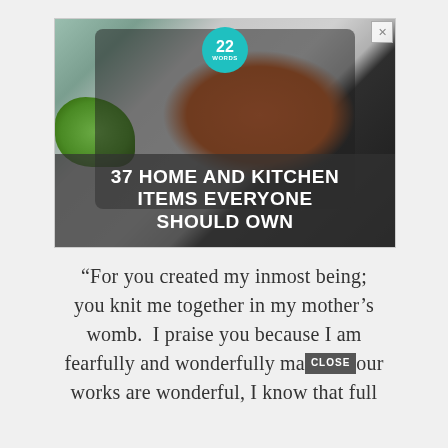[Figure (photo): Advertisement image showing hands holding a black kitchen gadget (vegetable slicer/cutter) with a tomato inside it, with green herbs visible in the lower left. A teal circular badge reads '22 WORDS' at the top center. A semi-transparent dark overlay at the bottom contains bold white text. An X close button is at the top right corner.]
37 HOME AND KITCHEN ITEMS EVERYONE SHOULD OWN
“For you created my inmost being; you knit me together in my mother’s womb.  I praise you because I am fearfully and wonderfully made. your works are wonderful, I know that full